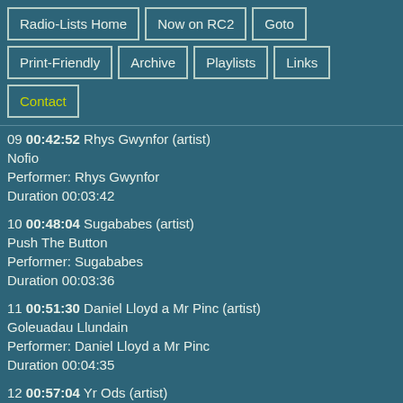Radio-Lists Home | Now on RC2 | Goto | Print-Friendly | Archive | Playlists | Links | Contact
09 00:42:52 Rhys Gwynfor (artist)
Nofio
Performer: Rhys Gwynfor
Duration 00:03:42
10 00:48:04 Sugababes (artist)
Push The Button
Performer: Sugababes
Duration 00:03:36
11 00:51:30 Daniel Lloyd a Mr Pinc (artist)
Goleuadau Llundain
Performer: Daniel Lloyd a Mr Pinc
Duration 00:04:35
12 00:57:04 Yr Ods (artist)